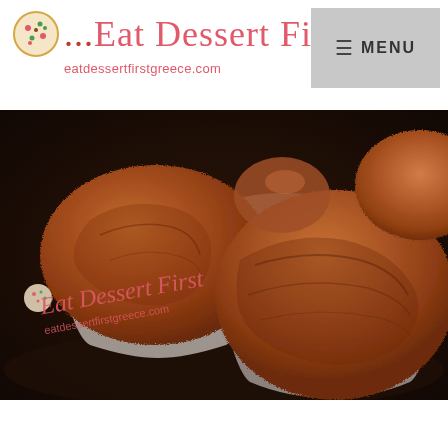[Figure (logo): Eat Dessert First logo with cookie icon, text '...Eat Dessert First' in pink cursive and 'eatdessertfirstgreece.com' below]
[Figure (other): Navigation menu button with hamburger icon and MENU text on grey background]
[Figure (photo): Close-up photograph of chocolate truffles dusted with cocoa powder in ruffled paper cups on a dark surface, with Eat Dessert First watermark overlay]